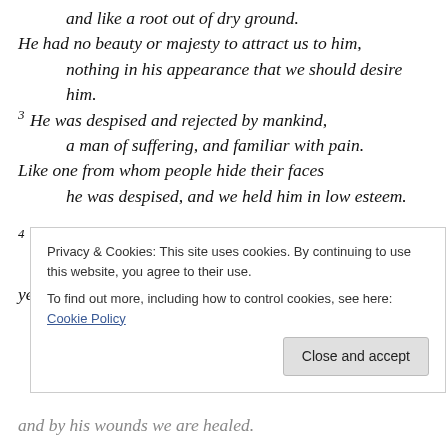and like a root out of dry ground.
He had no beauty or majesty to attract us to him,
    nothing in his appearance that we should desire him.
3 He was despised and rejected by mankind,
    a man of suffering, and familiar with pain.
Like one from whom people hide their faces
    he was despised, and we held him in low esteem.
4 Surely he took up our pain
    and bore our suffering,
yet we considered him punished by God,
Privacy & Cookies: This site uses cookies. By continuing to use this website, you agree to their use.
To find out more, including how to control cookies, see here: Cookie Policy
Close and accept
and by his wounds we are healed.